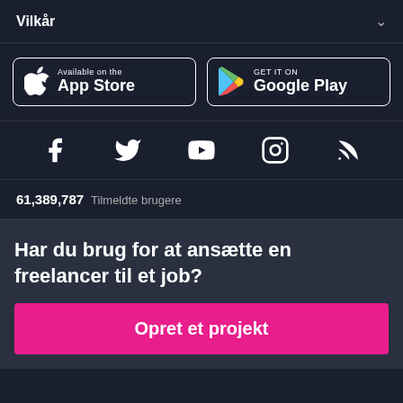Vilkår
[Figure (logo): App Store and Google Play store download buttons]
[Figure (infographic): Social media icons: Facebook, Twitter, YouTube, Instagram, RSS]
61,389,787  Tilmeldte brugere
Har du brug for at ansætte en freelancer til et job?
Opret et projekt